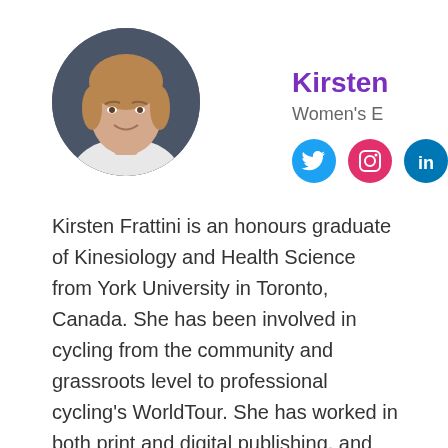[Figure (photo): Circular profile photo of Kirsten Frattini, a woman with light brown hair, smiling, wearing a white top against a dark background.]
Kirsten
Women's E
[Figure (infographic): Three circular social media icons: Twitter (blue bird), Instagram (pink camera), LinkedIn (blue 'in')]
Kirsten Frattini is an honours graduate of Kinesiology and Health Science from York University in Toronto, Canada. She has been involved in cycling from the community and grassroots level to professional cycling's WorldTour. She has worked in both print and digital publishing, and started with Cyclingnews as a North American Correspondent in 2006. Moving into a Production Editor's role in 2014, she